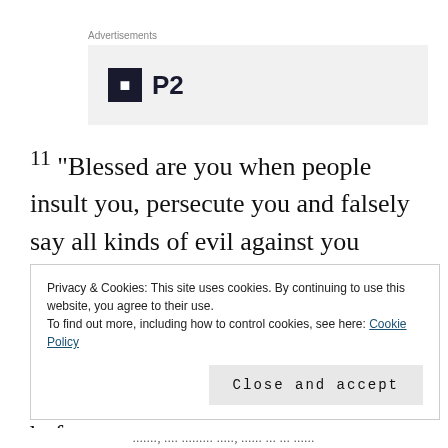[Figure (logo): P2 logo with dark square icon and bold P2 text, under an Advertisements label on a light grey background]
11 “Blessed are you when people insult you, persecute you and falsely say all kinds of evil against you because of me. 12 Rejoice and be glad, because great is your reward in heaven, for in the same way they persecuted the prophets who were before you.
Privacy & Cookies: This site uses cookies. By continuing to use this website, you agree to their use.
To find out more, including how to control cookies, see here: Cookie Policy